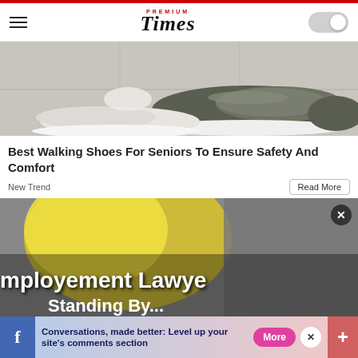Premium Times
[Figure (photo): Close-up photo of a person wearing grey slip-on walking shoes on a stone tile floor]
Best Walking Shoes For Seniors To Ensure Safety And Comfort
New Trend
[Figure (photo): Advertisement image for Employment Lawyer with text 'mployement Lawyer Standing By...' overlaid on a blurred yellow and grey background]
[Figure (screenshot): Bottom banner ad: Facebook Conversations, made better: Level up your site's comments section. More button and close button visible.]